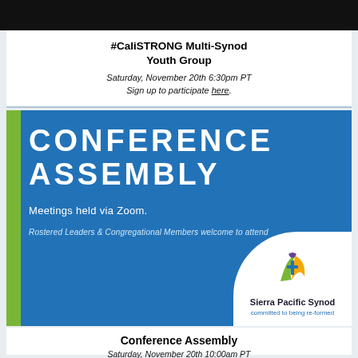#CaliSTRONG Multi-Synod Youth Group
Saturday, November 20th 6:30pm PT
Sign up to participate here.
[Figure (infographic): Conference Assembly banner with blue background, green left stripe, large white text reading CONFERENCE ASSEMBLY, subtext 'Meetings held via Zoom.', italic text 'Rostered Leaders & Congregational Members welcome to attend', and Sierra Pacific Synod logo with tagline 'committed to being re-formed' in bottom right white curved area.]
Conference Assembly
Saturday, November 20th 10:00am PT
Sierra Central Valley Conference
Sunday, January 30th 3:00pm PT
Mt. Diablo Conference
Sunday, February 6th 2:00pm PT
Bridges Conference